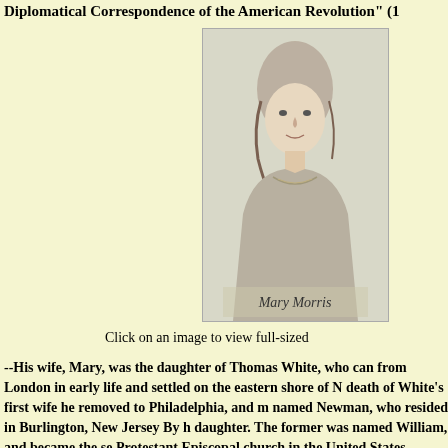Diplomatical Correspondence of the American Revolution" (1
[Figure (illustration): Portrait engraving of Mary Morris, a woman with hair up, in period dress, with cursive signature 'Mary Morris' at the bottom]
Click on an image to view full-sized
--His wife, Mary, was the daughter of Thomas White, who came from London in early life and settled on the eastern shore of Maryland. After the death of White's first wife he removed to Philadelphia, and married a lady named Newman, who resided in Burlington, New Jersey By her he had a son and daughter. The former was named William, and became the second bishop of the Protestant Episcopal church in the United States. Mary, the elder of these two children, married Robert Morris, 2 March, 1769, when she was about sixteen years of age. She has been described as "elegant, accomplished, and eminently qualified to carry the felicity of connubial life, to its highest perfection." To see she preside gracefully over her husband's luxurious home during the days of prosperity, but, when misfortune had overtaken him, she showed herself a devoted wife.
Through certain interests in the Holland land company, bequeathed to Gouverneur Morris, she obtained from that corporation a life...